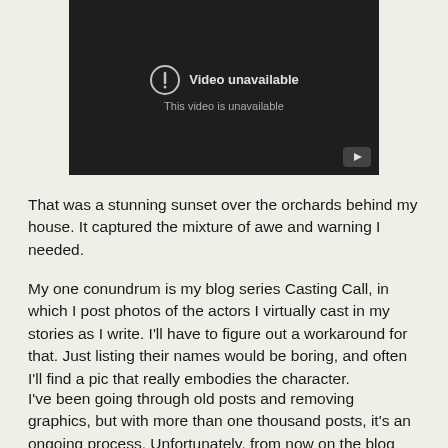[Figure (screenshot): Embedded YouTube video player showing 'Video unavailable — This video is unavailable' message on a dark background with a YouTube play button icon in the bottom right corner.]
That was a stunning sunset over the orchards behind my house. It captured the mixture of awe and warning I needed.
My one conundrum is my blog series Casting Call, in which I post photos of the actors I virtually cast in my stories as I write. I'll have to figure out a workaround for that. Just listing their names would be boring, and often I'll find a pic that really embodies the character.
I've been going through old posts and removing graphics, but with more than one thousand posts, it's an ongoing process. Unfortunately, from now on the blog will be less decorative and appear more utilitarian. Guess I'll have to start taking a lot more photos and posting those instead, like